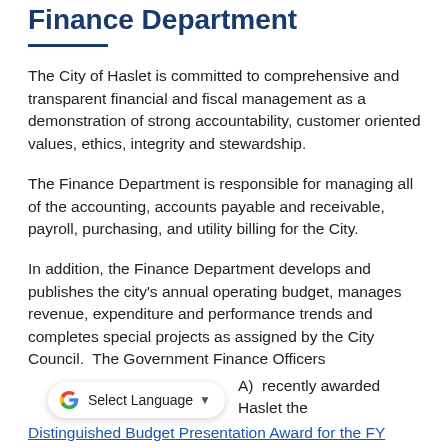Finance Department
The City of Haslet is committed to comprehensive and transparent financial and fiscal management as a demonstration of strong accountability, customer oriented values, ethics, integrity and stewardship.
The Finance Department is responsible for managing all of the accounting, accounts payable and receivable, payroll, purchasing, and utility billing for the City.
In addition, the Finance Department develops and publishes the city's annual operating budget, manages revenue, expenditure and performance trends and completes special projects as assigned by the City Council.  The Government Finance Officers (GFOA)  recently awarded Haslet the Distinguished Budget Presentation Award for the FY